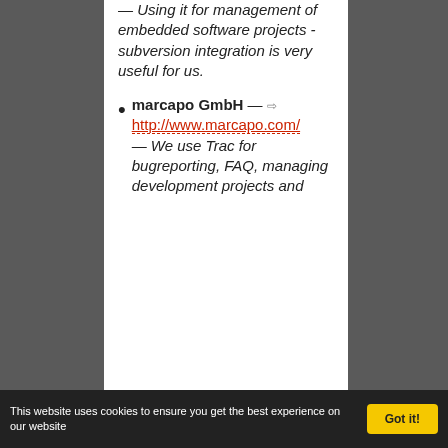— Using it for management of embedded software projects - subversion integration is very useful for us.
marcapo GmbH — http://www.marcapo.com/ — We use Trac for bugreporting, FAQ, managing development projects and
This website uses cookies to ensure you get the best experience on our website